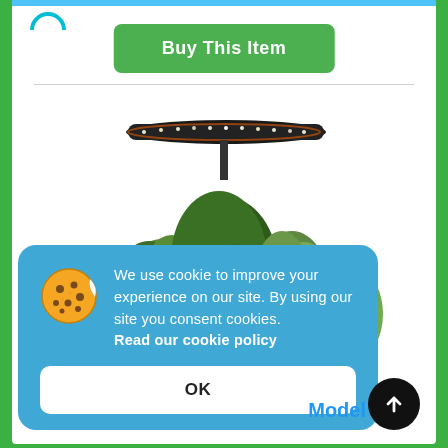Buy This Item
[Figure (photo): Indoor herb garden with LED grow light ring on top, showing basil, parsley, thyme and other herbs growing in a black hydroponic planter unit on white background]
We use cookie to improve your experience on our site. By using our site you consent cookies. Read our cookie policy
OK
Model